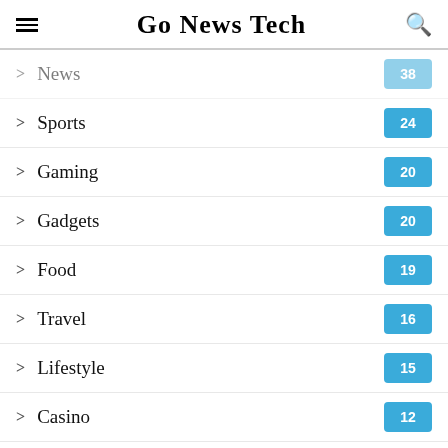Go News Tech
News — 38
Sports — 24
Gaming — 20
Gadgets — 20
Food — 19
Travel — 16
Lifestyle — 15
Casino — 12
Law — 10
Insurance — 10
Cryptocurrency
Jewelry — 7
CBD — 7